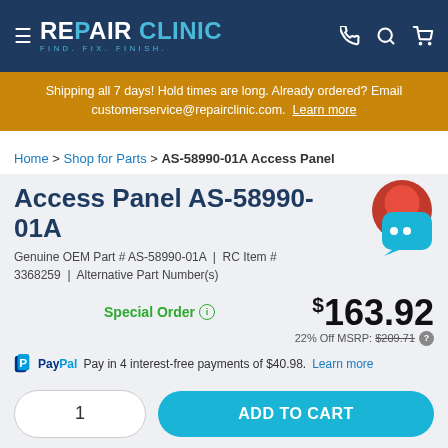REPAIR CLINIC — FIND. FIX. FINISH.
Shipping all 7 days! Hold times are long. Already ordered? Email customerservice@repairclinic.com. Learn more
Home > Shop for Parts > AS-58990-01A Access Panel
Access Panel AS-58990-01A
Genuine OEM Part # AS-58990-01A | RC Item # 3368259 | Alternative Part Number(s)
Special Order  22% Off MSRP: $209.71  $163.92
PayPal Pay in 4 interest-free payments of $40.98. Learn more
1  ADD TO CART